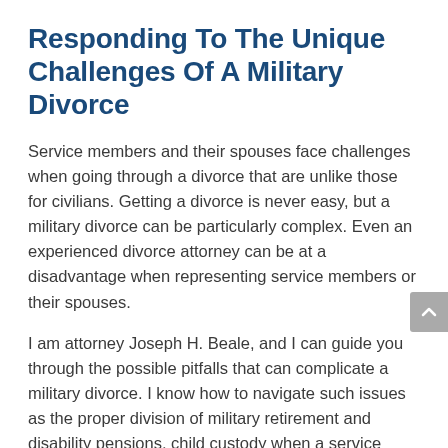Responding To The Unique Challenges Of A Military Divorce
Service members and their spouses face challenges when going through a divorce that are unlike those for civilians. Getting a divorce is never easy, but a military divorce can be particularly complex. Even an experienced divorce attorney can be at a disadvantage when representing service members or their spouses.
I am attorney Joseph H. Beale, and I can guide you through the possible pitfalls that can complicate a military divorce. I know how to navigate such issues as the proper division of military retirement and disability pensions, child custody when a service member is frequently deployed, spousal support and the division of property.